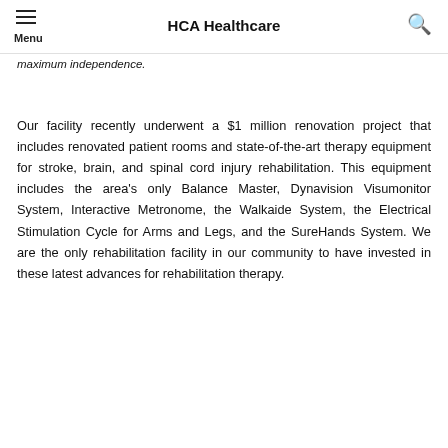HCA Healthcare
maximum independence.
Our facility recently underwent a $1 million renovation project that includes renovated patient rooms and state-of-the-art therapy equipment for stroke, brain, and spinal cord injury rehabilitation. This equipment includes the area's only Balance Master, Dynavision Visumonitor System, Interactive Metronome, the Walkaide System, the Electrical Stimulation Cycle for Arms and Legs, and the SureHands System. We are the only rehabilitation facility in our community to have invested in these latest advances for rehabilitation therapy.